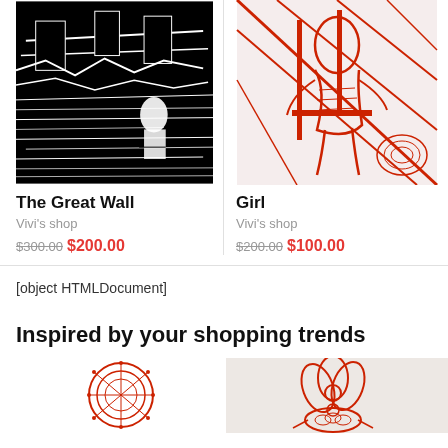[Figure (illustration): Black and white woodcut/linocut print of The Great Wall with a figure]
The Great Wall
Vivi's shop
$300.00$200.00
[Figure (illustration): Red and white woodcut/linocut print of a girl]
Girl
Vivi's shop
$200.00$100.00
[object HTMLDocument]
Inspired by your shopping trends
[Figure (illustration): Red circular lace/papercutting design]
[Figure (illustration): Red flower and turtle papercutting art on light background]